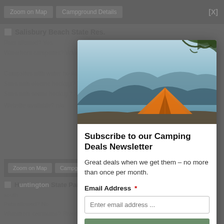[Figure (screenshot): Background webpage showing campground listing for Salisbury Beach State Res. with fields for Pets allowed, Waterfront campsites, Campsites with water hookup, Sites with electric hookup, Sites with sewer hookup, and website. Dimmed behind modal overlay.]
[Figure (photo): Photo of an orange tent pitched near a mountain lake with misty hills and tree branches in the foreground.]
Subscribe to our Camping Deals Newsletter
Great deals when we get them – no more than once per month.
Email Address *
Enter email address ...
Subscribe